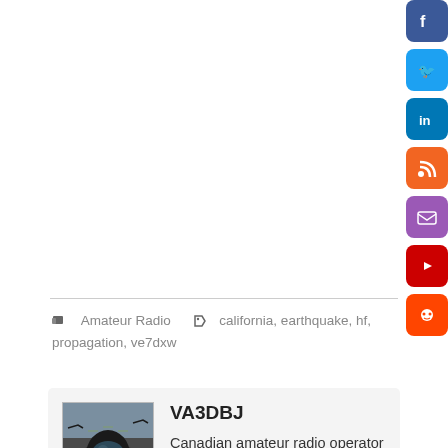[Figure (infographic): Social media icon buttons on right edge: Facebook (blue), Twitter (light blue), LinkedIn (dark blue), RSS (orange), Email (purple), YouTube (red), Reddit (orange-red)]
Amateur Radio   california, earthquake, hf, propagation, ve7dxw
[Figure (photo): Photo of a pilot in cockpit viewed from above, wearing helmet and oxygen mask, cockpit instrumentation visible]
VA3DBJ
Canadian amateur radio operator since 2007. Operating on the VHF/UHF bands and local repeaters in the Durham Region area. Husband and the father of four.